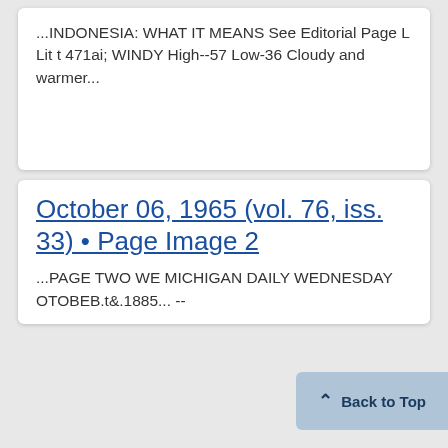...INDONESIA: WHAT IT MEANS See Editorial Page L Lit t 471ai; WINDY High--57 Low-36 Cloudy and warmer...
October 06, 1965 (vol. 76, iss. 33) • Page Image 2
...PAGE TWO WE MICHIGAN DAILY WEDNESDAY OTOBEB.t&.1885... --